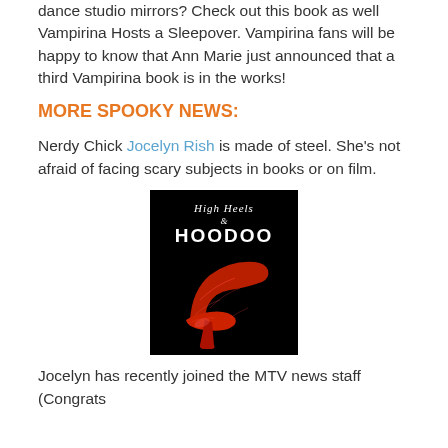dance studio mirrors? Check out this book as well Vampirina Hosts a Sleepover. Vampirina fans will be happy to know that Ann Marie just announced that a third Vampirina book is in the works!
MORE SPOOKY NEWS:
Nerdy Chick Jocelyn Rish is made of steel. She's not afraid of facing scary subjects in books or on film.
[Figure (photo): Book cover for 'High Heels & Hoodoo' featuring a red high heel shoe on a black background with the title text in white.]
Jocelyn has recently joined the MTV news staff (Congrats